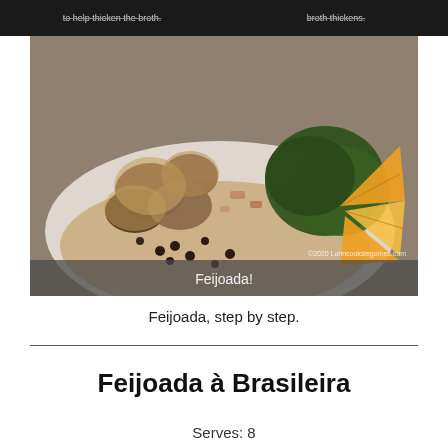[Figure (photo): Two dark food preparation step photos side by side at top, with text 'to help thicken the broth.' on left and 'broth thickens.' on right]
[Figure (photo): Large photo of Feijoada dish on a white plate with black beans, meats, greens, and orange slices. Caption 'Feijoada!' overlaid at bottom. Watermark '©2020 Lorincookslegumes.com' in lower right.]
Feijoada, step by step.
Feijoada à Brasileira
Serves: 8